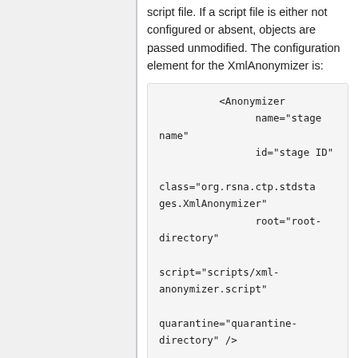script file. If a script file is either not configured or absent, objects are passed unmodified. The configuration element for the XmlAnonymizer is:
<Anonymizer
    name="stage name"
    id="stage ID"
    class="org.rsna.ctp.stdstages.XmlAnonymizer"
    root="root-directory"
    script="scripts/xml-anonymizer.script"
    quarantine="quarantine-directory" />
where: